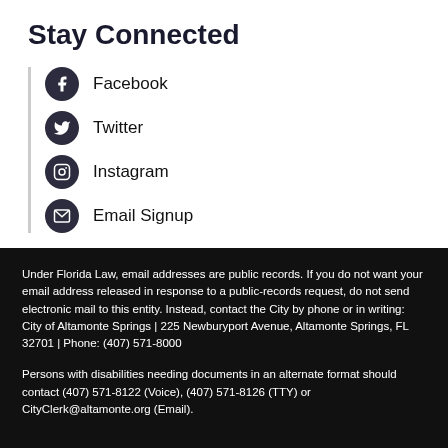Stay Connected
Facebook
Twitter
Instagram
Email Signup
Under Florida Law, email addresses are public records. If you do not want your email address released in response to a public-records request, do not send electronic mail to this entity. Instead, contact the City by phone or in writing: City of Altamonte Springs | 225 Newburyport Avenue, Altamonte Springs, FL 32701 | Phone: (407) 571-8000
Persons with disabilities needing documents in an alternate format should contact (407) 571-8122 (Voice), (407) 571-8126 (TTY) or CityClerk@altamonte.org (Email).